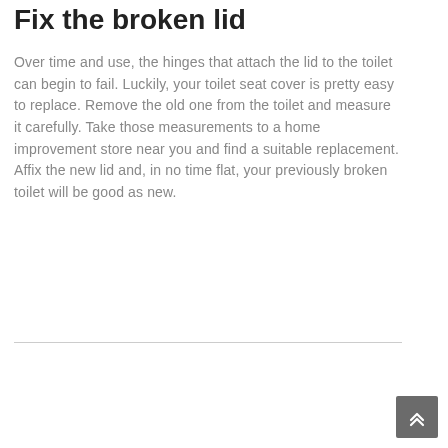Fix the broken lid
Over time and use, the hinges that attach the lid to the toilet can begin to fail. Luckily, your toilet seat cover is pretty easy to replace. Remove the old one from the toilet and measure it carefully. Take those measurements to a home improvement store near you and find a suitable replacement. Affix the new lid and, in no time flat, your previously broken toilet will be good as new.